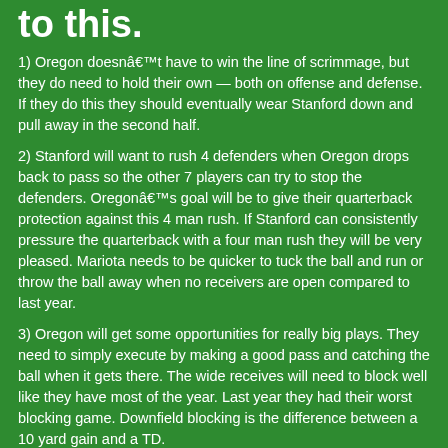to this.
1) Oregon doesnâ€™t have to win the line of scrimmage, but they do need to hold their own — both on offense and defense. If they do this they should eventually wear Stanford down and pull away in the second half.
2) Stanford will want to rush 4 defenders when Oregon drops back to pass so the other 7 players can try to stop the defenders. Oregonâ€™s goal will be to give their quarterback protection against this 4 man rush. If Stanford can consistently pressure the quarterback with a four man rush they will be very pleased. Mariota needs to be quicker to tuck the ball and run or throw the ball away when no receivers are open compared to last year.
3) Oregon will get some opportunities for really big plays. They need to simply execute by making a good pass and catching the ball when it gets there. The wide receives will need to block well like they have most of the year. Last year they had their worst blocking game. Downfield blocking is the difference between a 10 yard gain and a TD.